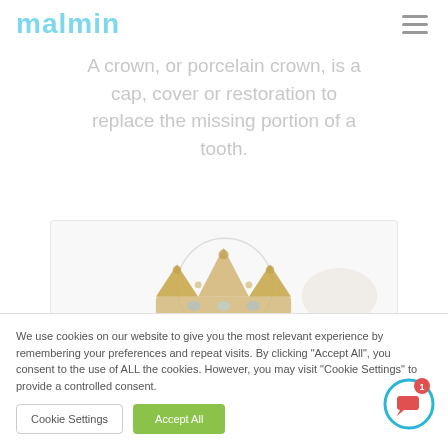malmin
A crown, or porcelain crown, is a cap, cover or restoration to replace the missing portion of a tooth.
[Figure (photo): Photo of a small decorative crown (tiara) alongside a dental crown/tooth shape on a white background]
We use cookies on our website to give you the most relevant experience by remembering your preferences and repeat visits. By clicking "Accept All", you consent to the use of ALL the cookies. However, you may visit "Cookie Settings" to provide a controlled consent.
Cookie Settings   Accept All